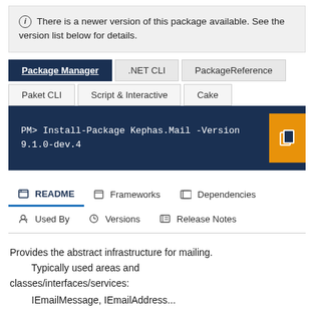ⓘ There is a newer version of this package available. See the version list below for details.
Package Manager | .NET CLI | PackageReference | Paket CLI | Script & Interactive | Cake
PM> Install-Package Kephas.Mail -Version 9.1.0-dev.4
README | Frameworks | Dependencies | Used By | Versions | Release Notes
Provides the abstract infrastructure for mailing. Typically used areas and classes/interfaces/services:
IEmailMessage, IEmailAddress...